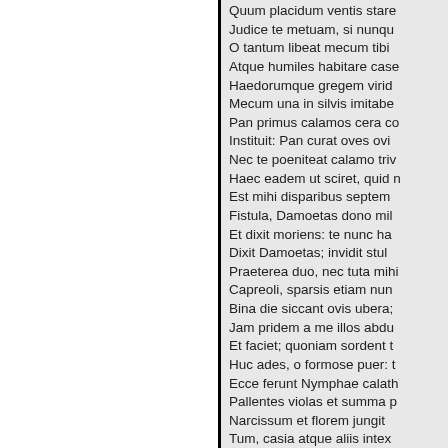Quum placidum ventis stare
Judice te metuam, si nunqu
O tantum libeat mecum tibi
Atque humiles habitare case
Haedorumque gregem virid
Mecum una in silvis imitabe
Pan primus calamos cera co
Instituit: Pan curat oves ovi
Nec te poeniteat calamo triv
Haec eadem ut sciret, quid n
Est mihi disparibus septem
Fistula, Damoetas dono mil
Et dixit moriens: te nunc ha
Dixit Damoetas; invidit stul
Praeterea duo, nec tuta mihi
Capreoli, sparsis etiam nun
Bina die siccant ovis ubera;
Jam pridem a me illos abdu
Et faciet; quoniam sordent t
Huc ades, o formose puer: t
Ecce ferunt Nymphae calath
Pallentes violas et summa p
Narcissum et florem jungit
Tum, casia atque aliis intex